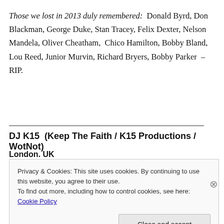Those we lost in 2013 duly remembered:  Donald Byrd, Don Blackman, George Duke, Stan Tracey, Felix Dexter, Nelson Mandela, Oliver Cheatham,  Chico Hamilton, Bobby Bland, Lou Reed, Junior Murvin, Richard Bryers, Bobby Parker  – RIP.
DJ K15  (Keep The Faith / K15 Productions / WotNot)
London. UK
Privacy & Cookies: This site uses cookies. By continuing to use this website, you agree to their use.
To find out more, including how to control cookies, see here: Cookie Policy